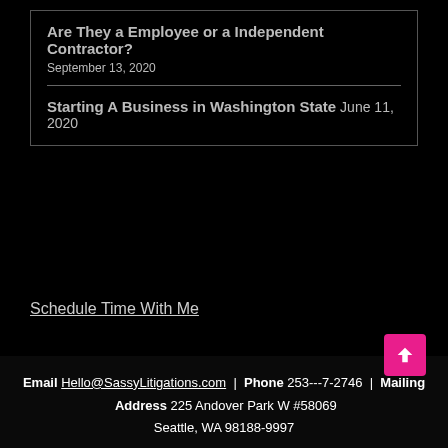Are They a Employee or a Independent Contractor?
September 13, 2020
Starting A Business in Washington State  June 11, 2020
Schedule Time With Me
Email Hello@SassyLitigations.com | Phone 253-[redacted]-2746 | Mailing Address 225 Andover Park W #58069 Seattle, WA 98188-9997